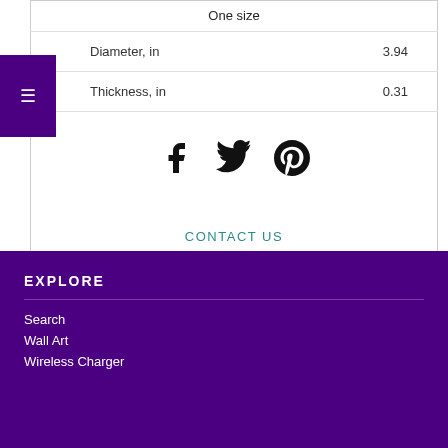|  | One size |
| --- | --- |
| Diameter, in | 3.94 |
| Thickness, in | 0.31 |
[Figure (other): Social sharing icons: Facebook, Twitter, Pinterest]
CONTACT US
EXPLORE
Search
Wall Art
Wireless Charger